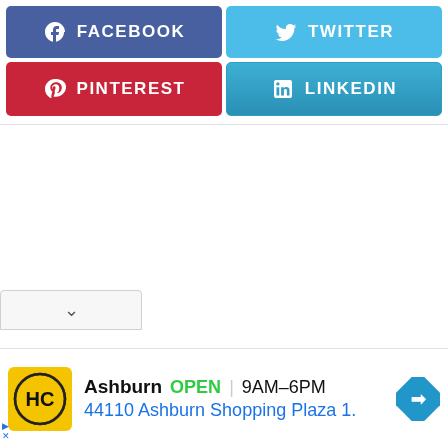[Figure (screenshot): Social media share buttons: Facebook (blue-purple), Twitter (light blue), Pinterest (red), LinkedIn (blue gradient)]
[Figure (screenshot): Advertisement bar: HC logo on yellow background, Ashburn OPEN 9AM-6PM, 44110 Ashburn Shopping Plaza 1., navigation arrow icon]